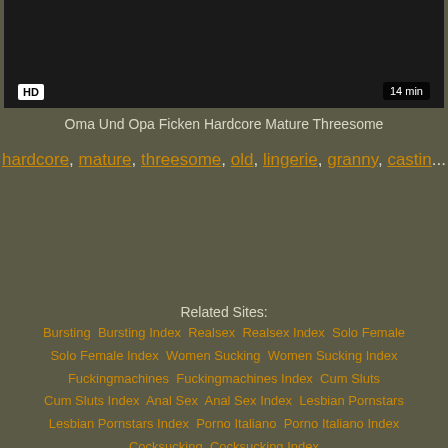[Figure (screenshot): Dark video thumbnail with HD badge on lower left and '14 min' duration badge on lower right]
Oma Und Opa Ficken Hardcore Mature Threesome
hardcore, mature, threesome, old, lingerie, granny, castin...
Related Sites:
Bursting  Bursting Index  Realsex  Realsex Index  Solo Female  Solo Female Index  Women Sucking  Women Sucking Index  Fuckingmachines  Fuckingmachines Index  Cum Sluts  Cum Sluts Index  Anal Sex  Anal Sex Index  Lesbian Pornstars  Lesbian Pornstars Index  Porno Italiano  Porno Italiano Index  Cocksucking  Cocksucking Index